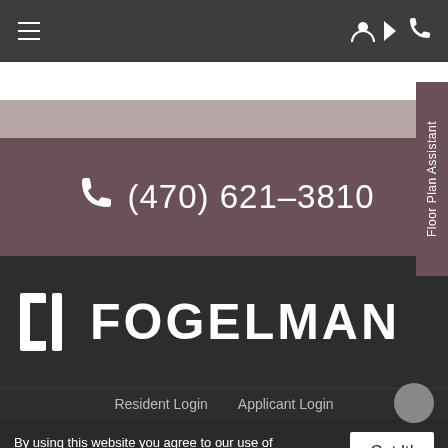Navigation bar with hamburger menu and user/phone icons
(470) 621–3810
[Figure (logo): Fogelman logo with stylized bracket icon and FOGELMAN wordmark in white on dark background]
Resident Login   Applicant Login
Floor Plan Assistant
By using this website you agree to our use of cookies as described in our cookie policy.
Got It!